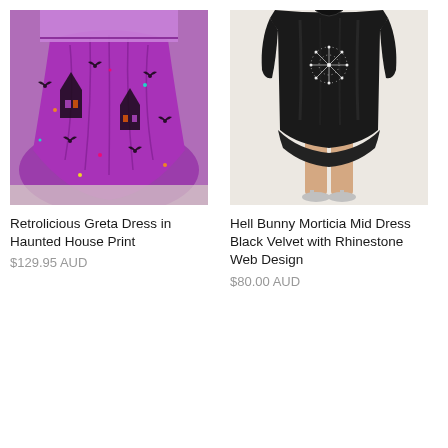[Figure (photo): Purple dress with black haunted house and bat print, voluminous skirt shown from waist down]
Retrolicious Greta Dress in Haunted House Print
$129.95 AUD
[Figure (photo): Black velvet mid dress with rhinestone web design, shown on model from waist down with silver heels]
Hell Bunny Morticia Mid Dress Black Velvet with Rhinestone Web Design
$80.00 AUD